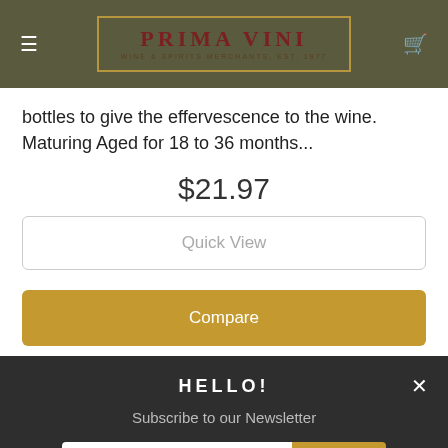PRIMA VINI — WINE & SPIRITS MERCHANTS, EST. 1977
bottles to give the effervescence to the wine. Maturing Aged for 18 to 36 months...
$21.97
Quick View
Compare
HELLO!
Subscribe to our Newsletter
Email
SUBMIT